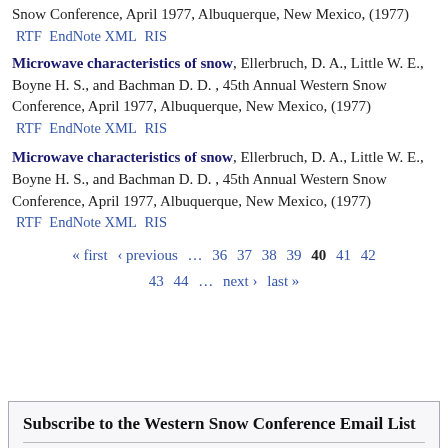Snow Conference, April 1977, Albuquerque, New Mexico, (1977)
RTF  EndNote XML  RIS
Microwave characteristics of snow, Ellerbruch, D. A., Little W. E., Boyne H. S., and Bachman D. D. , 45th Annual Western Snow Conference, April 1977, Albuquerque, New Mexico, (1977)
RTF  EndNote XML  RIS
Microwave characteristics of snow, Ellerbruch, D. A., Little W. E., Boyne H. S., and Bachman D. D. , 45th Annual Western Snow Conference, April 1977, Albuquerque, New Mexico, (1977)
RTF  EndNote XML  RIS
« first  ‹ previous  …  36  37  38  39  40  41  42  43  44  …  next ›  last »
Subscribe to the Western Snow Conference Email List